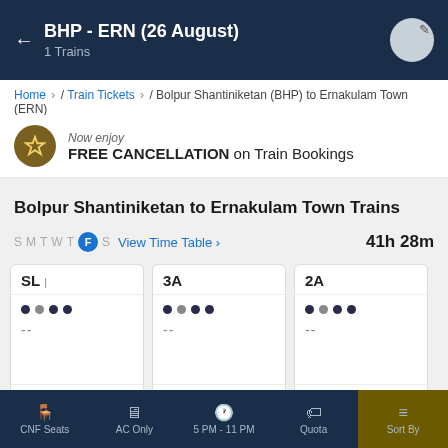BHP - ERN (26 August)
1 Trains
Home › / Train Tickets › / Bolpur Shantiniketan (BHP) to Ernakulam Town (ERN)
Now enjoy FREE CANCELLATION on Train Bookings
Bolpur Shantiniketan to Ernakulam Town Trains
S M T W T F S  View Time Table ›   41h 28m
SL
● ● ● ●
--
Book Now
3A
● ● ● ●
--
Book Now
2A
● ● ● ●
--
Book Now
View 6 day availability ›
CNF Seats   AC Only   5 PM - 11 PM   Quota   Sort By